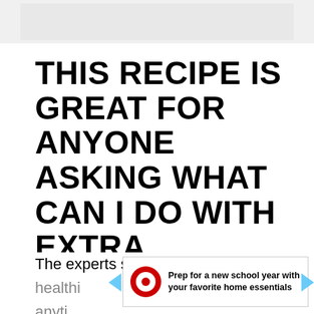[Figure (other): Gray image/banner placeholder at top of page]
THIS RECIPE IS GREAT FOR ANYONE ASKING WHAT CAN I DO WITH EXTRA AVOCADO.
Adding you avocado to soup is a great way to add both flavor and consistency to soup.
The experts say that avocados are healthi... anythi...
[Figure (other): Target store advertisement banner: 'Prep for a new school year with your favorite home essentials' with Target bullseye logo]